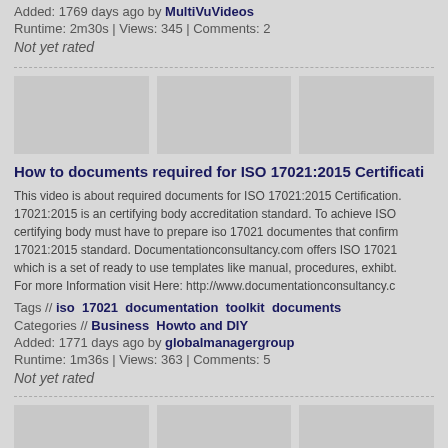Added: 1769 days ago by MultiVuVideos
Runtime: 2m30s | Views: 345 | Comments: 2
Not yet rated
[Figure (screenshot): Three placeholder video thumbnails (gray boxes)]
How to documents required for ISO 17021:2015 Certification
This video is about required documents for ISO 17021:2015 Certification. 17021:2015 is an certifying body accreditation standard. To achieve ISO certifying body must have to prepare iso 17021 documentes that confirm 17021:2015 standard. Documentationconsultancy.com offers ISO 17021 which is a set of ready to use templates like manual, procedures, exhibits. For more Information visit Here: http://www.documentationconsultancy.c
Tags // iso 17021 documentation toolkit documents
Categories // Business Howto and DIY
Added: 1771 days ago by globalmanagergroup
Runtime: 1m36s | Views: 363 | Comments: 5
Not yet rated
[Figure (screenshot): Three placeholder video thumbnails (gray boxes) at bottom]